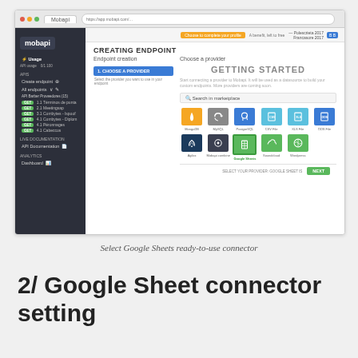[Figure (screenshot): Screenshot of Mobapi web application showing the endpoint creation screen with 'Choose a provider' panel. The interface displays provider options including MongoDB, MySQL, PostgreSQL, CSV File, XLS File, ODS File, Agilox, Mobapi combine, Google Sheets (selected/highlighted), Soundcloud, and Wordpress. The left sidebar shows the Mobapi logo and navigation including APIs, Live documentation, and Analytics sections.]
Select Google Sheets ready-to-use connector
2/ Google Sheet connector setting